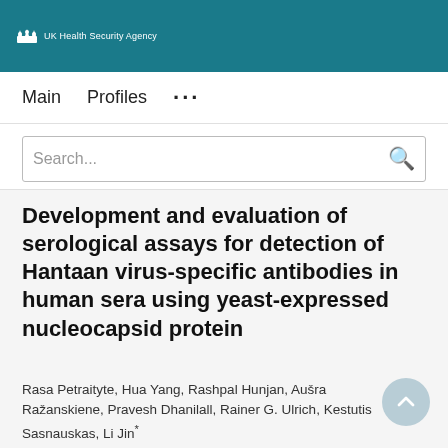UK Health Security Agency
Main   Profiles   ...
Search...
Development and evaluation of serological assays for detection of Hantaan virus-specific antibodies in human sera using yeast-expressed nucleocapsid protein
Rasa Petraityte, Hua Yang, Rashpal Hunjan, Aušra Ražanskiene, Pravesh Dhanilall, Rainer G. Ulrich, Kestutis Sasnauskas, Li Jin*